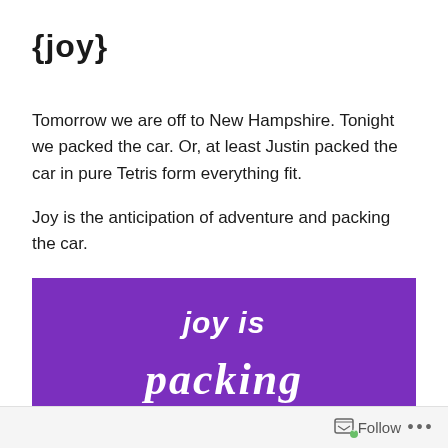{joy}
Tomorrow we are off to New Hampshire. Tonight we packed the car. Or, at least Justin packed the car in pure Tetris form everything fit.
Joy is the anticipation of adventure and packing the car.
[Figure (illustration): Purple background image with white italic text reading 'joy is' and large cursive text 'packing' partially visible at the bottom.]
Follow  •••